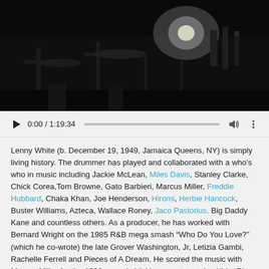[Figure (photo): Dark video thumbnail showing drum kit and music equipment in low light, with a bright light source in the background]
[Figure (screenshot): Video player controls bar showing play button, time 0:00 / 1:19:34, progress bar, volume icon, and more options icon]
Lenny White (b. December 19, 1949, Jamaica Queens, NY) is simply living history.  The drummer has played and collaborated with a who’s who in music including Jackie McLean, Miles Davis, Stanley Clarke, Chick Corea,Tom Browne, Gato Barbieri, Marcus Miller, Freddie Hubbard, Chaka Khan, Joe Henderson, Hiromi, Herbie Hancock, Buster Williams, Azteca, Wallace Roney, Jaco Pastorius, Big Daddy Kane  and countless others. As a producer, he has worked with Bernard Wright on the 1985 R&B mega smash “Who Do You Love?” (which he co-wrote) the late Grover Washington, Jr, Letizia Gambi, Rachelle Ferrell and Pieces of A Dream.  He scored the music with Marcus Miller for the 1990 comedy hit Houseparty starring Kid n Play, and directed by Reggie Hudlin. Furthermore, authenticity is at the core of everything White does whether it’s straight ahead jazz, jazz rock, jazz funk, R&B or a hip hop groove, a